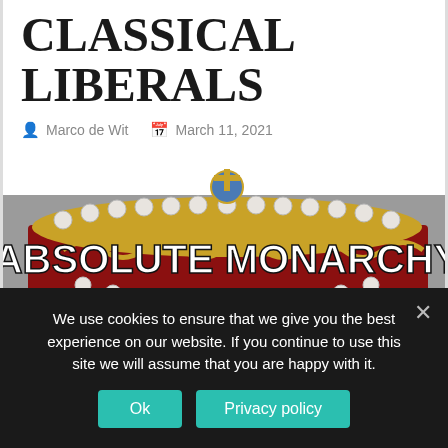CLASSICAL LIBERALS
Marco de Wit   March 11, 2021
[Figure (illustration): An illustration of a royal crown (absolute monarchy) with a gold cross on top of a blue orb, pearls around the crown, red velvet, and gold ornamental details. Bold white text overlaid reads 'ABSOLUTE MONARCHY'.]
We use cookies to ensure that we give you the best experience on our website. If you continue to use this site we will assume that you are happy with it.
Ok   Privacy policy